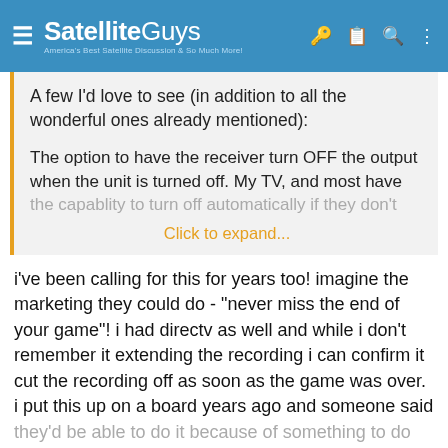SatelliteGuys — America's Best Satellite Discussion & So Much More!
A few I'd love to see (in addition to all the wonderful ones already mentioned):
The option to have the receiver turn OFF the output when the unit is turned off. My TV, and most have the capablity to turn off automatically if they don't
Click to expand...
i've been calling for this for years too! imagine the marketing they could do - "never miss the end of your game"! i had directv as well and while i don't remember it extending the recording i can confirm it cut the recording off as soon as the game was over. i put this up on a board years ago and someone said they'd be able to do it because of something to do with closed captioning programming - how the CC changes when the show itself changes?? not sure-